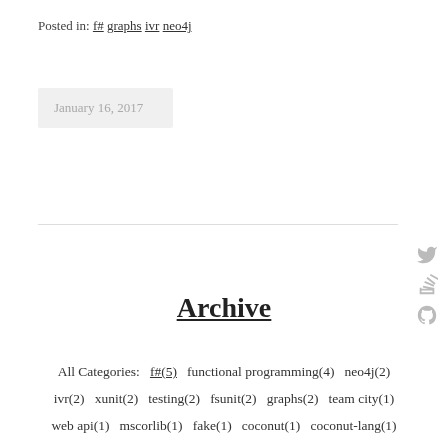Posted in: f# graphs ivr neo4j
January 16, 2017
Archive
All Categories: f#(5) functional programming(4) neo4j(2) ivr(2) xunit(2) testing(2) fsunit(2) graphs(2) team city(1) web api(1) mscorlib(1) fake(1) coconut(1) coconut-lang(1) railway oriented programming(1) pipe(1) cryptocurrency(1) blockchain(1) python(1) bitcoin(1) .net(1) build(1) iclassfixture(1) interfaces(1) discriminated union(1) tuples(1) algebraic data types(1) home